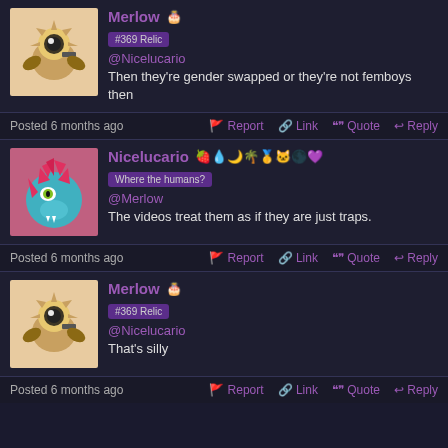[Figure (illustration): Avatar of Merlow: cartoon creature with yellow/brown tones holding a gun, sun-like head]
Merlow #369 Relic @Nicelucario Then they're gender swapped or they're not femboys then
Posted 6 months ago  Report  Link  Quote  Reply
[Figure (illustration): Avatar of Nicelucario: cyan dragon creature with red spiky hair and fangs on pink/purple background]
Nicelucario Where the humans? @Merlow The videos treat them as if they are just traps.
Posted 6 months ago  Report  Link  Quote  Reply
[Figure (illustration): Avatar of Merlow: same cartoon creature]
Merlow #369 Relic @Nicelucario That's silly
Posted 6 months ago  Report  Link  Quote  Reply